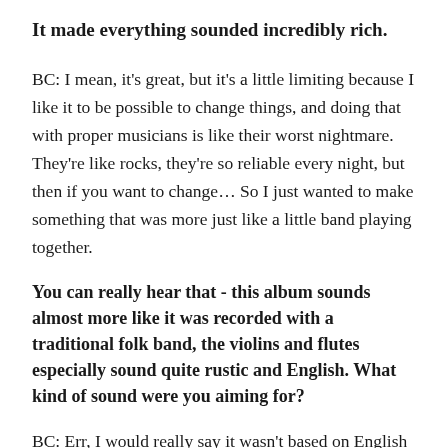It made everything sounded incredibly rich.
BC: I mean, it's great, but it's a little limiting because I like it to be possible to change things, and doing that with proper musicians is like their worst nightmare. They're like rocks, they're so reliable every night, but then if you want to change… So I just wanted to make something that was more just like a little band playing together.
You can really hear that - this album sounds almost more like it was recorded with a traditional folk band, the violins and flutes especially sound quite rustic and English. What kind of sound were you aiming for?
BC: Err, I would really say it wasn't based on English [folk] at all. More American jazz and the fiddle is more like something you'd hear in street dance, street bands, that type of thing. And just with using a flute - really I don't know what's gonna happen.